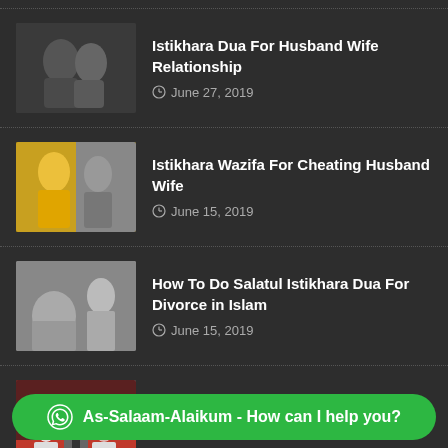Istikhara Dua For Husband Wife Relationship
June 27, 2019
Istikhara Wazifa For Cheating Husband Wife
June 15, 2019
How To Do Salatul Istikhara Dua For Divorce in Islam
June 15, 2019
How To Do Istikhara For Husband or Wife To Divorce – Istikhara for Divorce
As-Salaam-Alaikum - How can I help you?